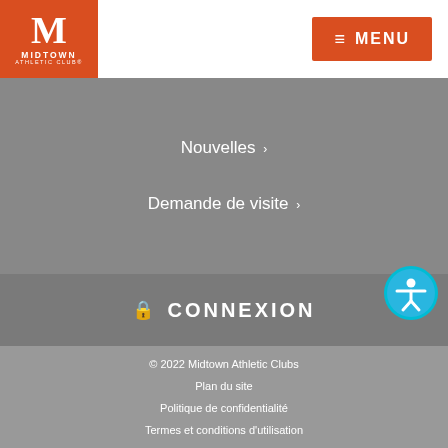[Figure (logo): Midtown Athletic Club logo: orange square with white M and text MIDTOWN ATHLETIC CLUB]
≡ MENU
Nouvelles ›
Demande de visite ›
🔒 CONNEXION
[Figure (illustration): Accessibility icon: blue circle with white wheelchair/person symbol]
© 2022 Midtown Athletic Clubs
Plan du site
Politique de confidentialité
Termes et conditions d'utilisation